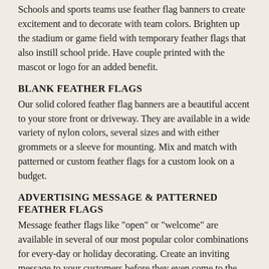Schools and sports teams use feather flag banners to create excitement and to decorate with team colors. Brighten up the stadium or game field with temporary feather flags that also instill school pride. Have couple printed with the mascot or logo for an added benefit.
BLANK FEATHER FLAGS
Our solid colored feather flag banners are a beautiful accent to your store front or driveway. They are available in a wide variety of nylon colors, several sizes and with either grommets or a sleeve for mounting. Mix and match with patterned or custom feather flags for a custom look on a budget.
ADVERTISING MESSAGE & PATTERNED FEATHER FLAGS
Message feather flags like "open" or "welcome" are available in several of our most popular color combinations for every-day or holiday decorating. Create an inviting message to your customers before they even come to the door.